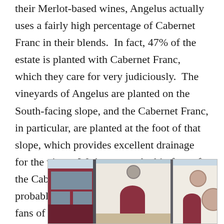their Merlot-based wines, Angelus actually uses a fairly high percentage of Cabernet Franc in their blends.  In fact, 47% of the estate is planted with Cabernet Franc, which they care for very judiciously.  The vineyards of Angelus are planted on the South-facing slope, and the Cabernet Franc, in particular, are planted at the foot of that slope, which provides excellent drainage for the vines.  We happen to be big fans of the Cab Franc grape varietal, so it’s probably no surprise that we’re also big fans of Angelus.
[Figure (photo): Photograph of the Angelus winery building exterior, showing white and dark red architecture with arched doorways and circular decorative elements.]